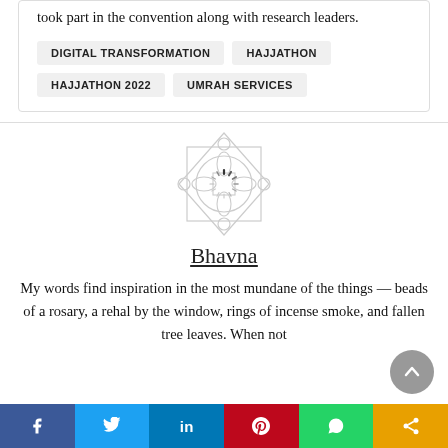took part in the convention along with research leaders.
DIGITAL TRANSFORMATION
HAJJATHON
HAJJATHON 2022
UMRAH SERVICES
[Figure (illustration): Decorative Islamic geometric pattern with a loading spinner overlay in the center]
Bhavna
My words find inspiration in the most mundane of the things — beads of a rosary, a rehal by the window, rings of incense smoke, and fallen tree leaves. When not
f  Twitter  in  P  WhatsApp  Share